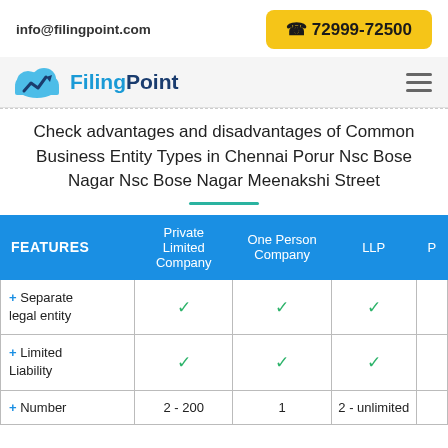info@filingpoint.com  ☎ 72999-72500
[Figure (logo): FilingPoint logo with cloud and arrow graphic, text 'FilingPoint']
Check advantages and disadvantages of Common Business Entity Types in Chennai Porur Nsc Bose Nagar Nsc Bose Nagar Meenakshi Street
| FEATURES | Private Limited Company | One Person Company | LLP | P |
| --- | --- | --- | --- | --- |
| + Separate legal entity | ✓ | ✓ | ✓ |  |
| + Limited Liability | ✓ | ✓ | ✓ |  |
| + Number | 2 - 200 | 1 | 2 - unlimited |  |